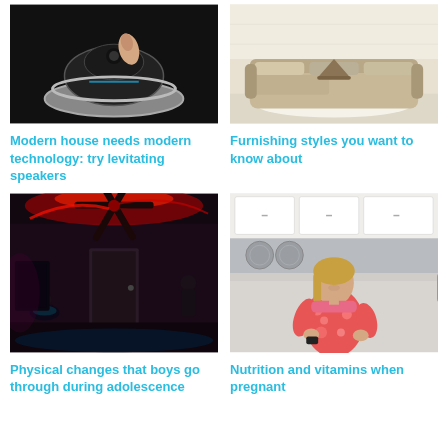[Figure (photo): A hand pressing a black levitating speaker device on a dark background]
Modern house needs modern technology: try levitating speakers
[Figure (photo): A living room with a beige sofa, striped pillows, and a decorative side table]
Furnishing styles you want to know about
[Figure (photo): A dark room with red ceiling fan light and figures sitting in dim lighting]
Physical changes that boys go through during adolescence
[Figure (photo): A pregnant woman in a red floral dress looking at something in a kitchen setting]
Nutrition and vitamins when pregnant